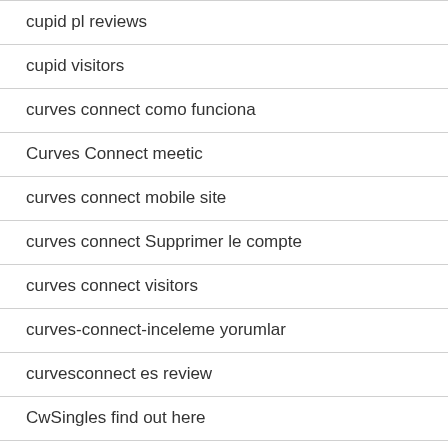cupid pl reviews
cupid visitors
curves connect como funciona
Curves Connect meetic
curves connect mobile site
curves connect Supprimer le compte
curves connect visitors
curves-connect-inceleme yorumlar
curvesconnect es review
CwSingles find out here
cybermen pl review